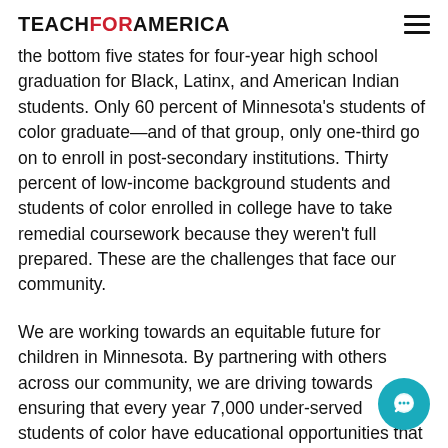TEACH FOR AMERICA
the bottom five states for four-year high school graduation for Black, Latinx, and American Indian students. Only 60 percent of Minnesota's students of color graduate—and of that group, only one-third go on to enroll in post-secondary institutions. Thirty percent of low-income background students and students of color enrolled in college have to take remedial coursework because they weren't full prepared. These are the challenges that face our community.
We are working towards an equitable future for children in Minnesota. By partnering with others across our community, we are driving towards ensuring that every year 7,000 under-served students of color have educational opportunities that open the door to college and beyond. Our